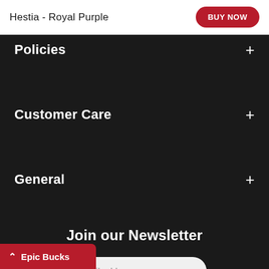Hestia - Royal Purple | BUY NOW
Policies
Customer Care
General
Join our Newsletter
E-mail address
Epic Bucks